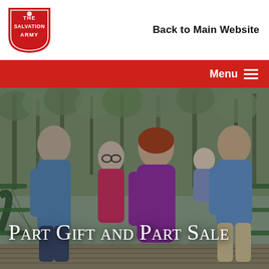[Figure (logo): The Salvation Army shield logo in red with white text]
Back to Main Website
Menu
[Figure (photo): A family of four adults and one baby standing on a wooden bridge outdoors among trees, with the overlaid heading 'Part Gift and Part Sale']
Part Gift and Part Sale